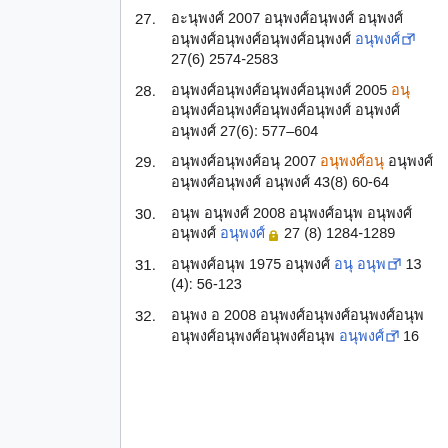27. ████████ 2007 ██████████ ████████████████████ ████ 27(6) 2574-2583
28. ████████████████ 2005 ███ ███████████████ ██████ 27(6): 577–604
29. ████████████ 2007 ███████ ███████████ ████ 43(8) 60-64
30. █████ █████ 2008 █████████ ████████████ ██████ 27 (8) 1284-1289
31. ██████████ 1975 ██████ ██ ████ 13 (4): 56-123
32. █████ █ 2008 ████████████ ██████████████ ██████ 16